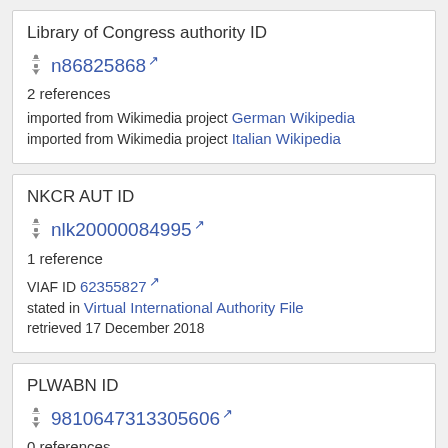Library of Congress authority ID
n86825868 [external link]
2 references
imported from Wikimedia project German Wikipedia
imported from Wikimedia project Italian Wikipedia
NKCR AUT ID
nlk20000084995 [external link]
1 reference
VIAF ID 62355827 [external link]
stated in Virtual International Authority File
retrieved 17 December 2018
PLWABN ID
9810647313305606 [external link]
0 references